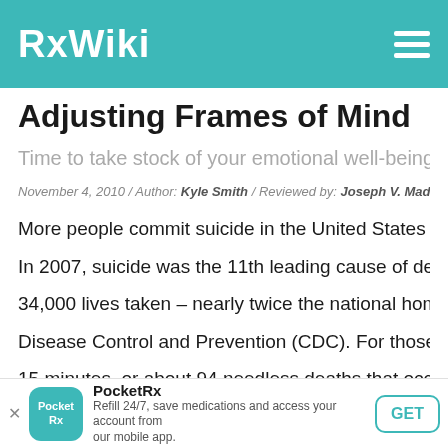RxWiki
Adjusting Frames of Mind
Time to take stock of your emotional well-being w...
November 4, 2010 / Author: Kyle Smith / Reviewed by: Joseph V. Madia, MD
More people commit suicide in the United States than d...
In 2007, suicide was the 11th leading cause of death fo... 34,000 lives taken – nearly twice the national homicide... Disease Control and Prevention (CDC). For those doin... 15 minutes, or about 94 needless deaths that occur ev...
Perhaps most troubling, many, if not all, of these death...
[Figure (screenshot): PocketRx advertisement bar at bottom: teal icon with 'PocketRx' text, 'Refill 24/7, save medications and access your account from our mobile app.' with a GET button.]